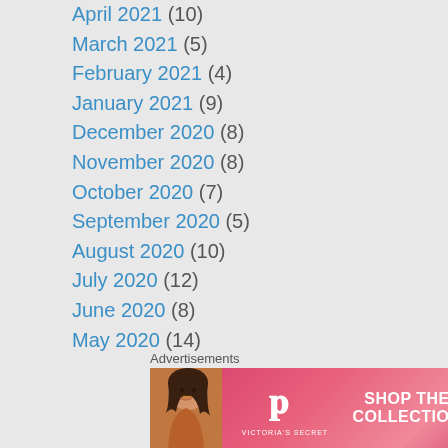April 2021 (10)
March 2021 (5)
February 2021 (4)
January 2021 (9)
December 2020 (8)
November 2020 (8)
October 2020 (7)
September 2020 (5)
August 2020 (10)
July 2020 (12)
June 2020 (8)
May 2020 (14)
April 2020 (12)
March 2020 (13)
February 2020 (11)
January 2020 (10)
December 2019 (14)
Advertisements
[Figure (illustration): Victoria's Secret advertisement banner with a model, VS logo, 'SHOP THE COLLECTION' text, and 'SHOP NOW' button]